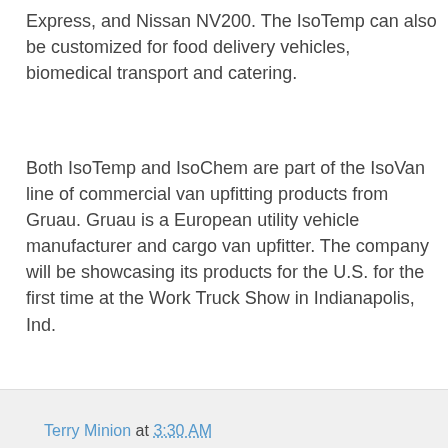Express, and Nissan NV200. The IsoTemp can also be customized for food delivery vehicles, biomedical transport and catering.
Both IsoTemp and IsoChem are part of the IsoVan line of commercial van upfitting products from Gruau. Gruau is a European utility vehicle manufacturer and cargo van upfitter. The company will be showcasing its products for the U.S. for the first time at the Work Truck Show in Indianapolis, Ind.
Tags: Cargo Vans, Transportation Refrigeration Unit, Van Upfitting
Go directly to this company's home page
Source: http://www.truckinginfo.com/channel/products/product/detail/2015/03/the-isotemp-refrigeration-upfit-is-designed-for-c.aspx
Terry Minion at 3:30 AM